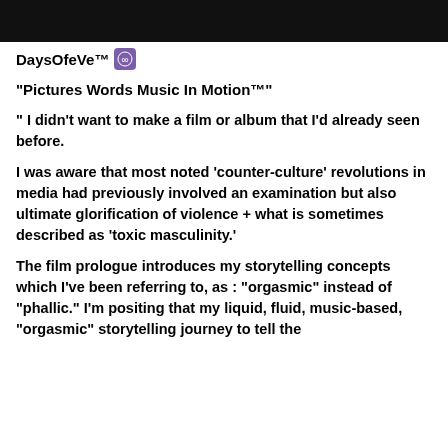[Figure (other): Black header bar at top of page]
DaysOfeVe™ 🔗
“Pictures Words Music In Motion™”
“ I didn’t want to make a film or album that I’d already seen before.
I was aware that most noted ‘counter-culture’ revolutions in media had previously involved an examination but also ultimate glorification of violence + what is sometimes described as ‘toxic masculinity.’
The film prologue introduces my storytelling concepts which I’ve been referring to, as : “orgasmic” instead of “phallic.” I’m positing that my liquid, fluid, music-based, “orgasmic” storytelling journey to tell the